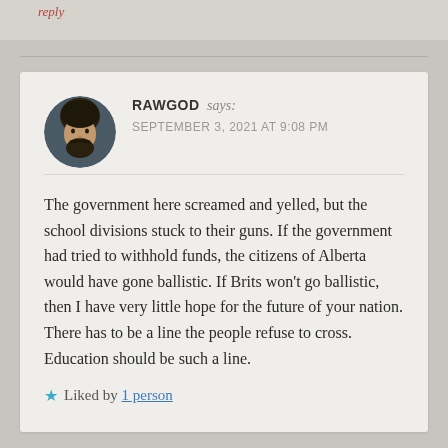reply
RAWGOD says:
SEPTEMBER 3, 2021 AT 9:08 PM
The government here screamed and yelled, but the school divisions stuck to their guns. If the government had tried to withhold funds, the citizens of Alberta would have gone ballistic. If Brits won't go ballistic, then I have very little hope for the future of your nation. There has to be a line the people refuse to cross. Education should be such a line.
★ Liked by 1 person